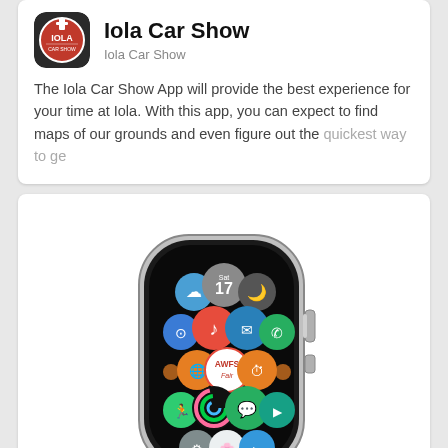Iola Car Show
Iola Car Show
The Iola Car Show App will provide the best experience for your time at Iola. With this app, you can expect to find maps of our grounds and even figure out the quickest way to ge
[Figure (screenshot): Apple Watch displaying app icons including AWFS Fair app on the watch face, shown with a silver stainless steel case]